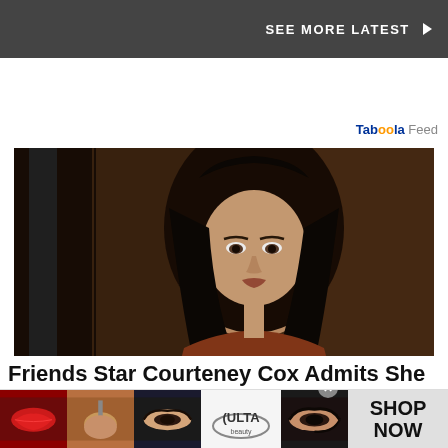SEE MORE LATEST ▶
Taboola Feed
[Figure (photo): Dark-haired woman (Courteney Cox) with serious expression against dark wood background]
Friends Star Courteney Cox Admits She
[Figure (infographic): Ulta Beauty advertisement banner with makeup product images: red lips, makeup brush, eye makeup, Ulta logo, eye makeup photo, and SHOP NOW call to action]